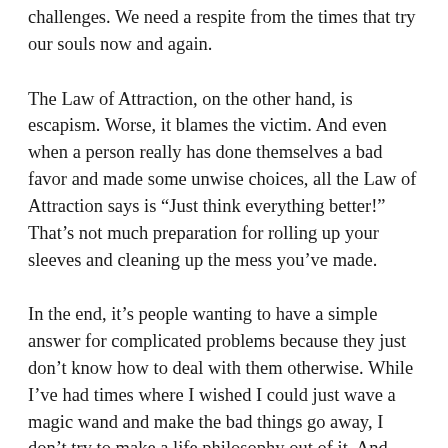challenges. We need a respite from the times that try our souls now and again.
The Law of Attraction, on the other hand, is escapism. Worse, it blames the victim. And even when a person really has done themselves a bad favor and made some unwise choices, all the Law of Attraction says is “Just think everything better!” That’s not much preparation for rolling up your sleeves and cleaning up the mess you’ve made.
In the end, it’s people wanting to have a simple answer for complicated problems because they just don’t know how to deal with them otherwise. While I’ve had times where I wished I could just wave a magic wand and make the bad things go away, I don’t try to make a life philosophy out of it. And that’s really the problem with the Law of Attraction–it tells you you don’t need to worry about things like privilege, and environmental injustice, and climate change, and the basic fact that life really isn’t fair and there’s no way around it. I think we